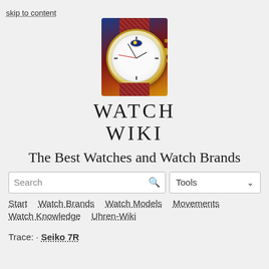skip to content
[Figure (logo): Watch Wiki logo: a luxury chronograph watch with gold case on a blue/red background, with 'WATCH WIKI' text below in large serif capitals]
The Best Watches and Watch Brands
Search | Tools
Start · Watch Brands · Watch Models · Movements · Watch Knowledge · Uhren-Wiki
Trace: • Seiko 7R